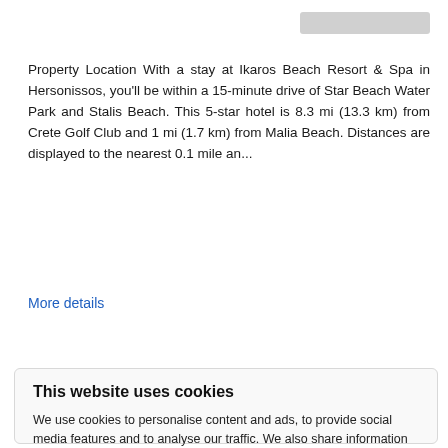Property Location With a stay at Ikaros Beach Resort & Spa in Hersonissos, you'll be within a 15-minute drive of Star Beach Water Park and Stalis Beach. This 5-star hotel is 8.3 mi (13.3 km) from Crete Golf Club and 1 mi (1.7 km) from Malia Beach. Distances are displayed to the nearest 0.1 mile an...
More details
This website uses cookies
We use cookies to personalise content and ads, to provide social media features and to analyse our traffic. We also share information about your use of our site with our social media, advertising and analytics partners. You consent to our cookies if you continue to use our website. Learn more